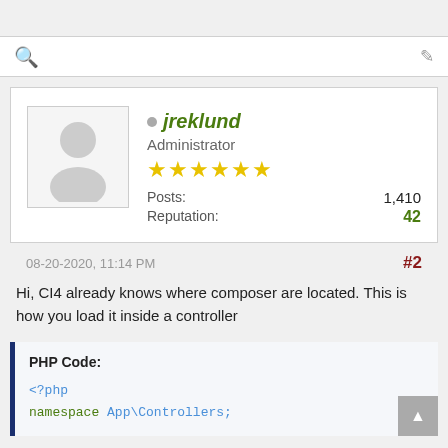Search / Edit
jreklund
Administrator
★★★★★★
Posts: 1,410
Reputation: 42
08-20-2020, 11:14 PM   #2
Hi, CI4 already knows where composer are located. This is how you load it inside a controller
PHP Code:
<?php
namespace App\Controllers;